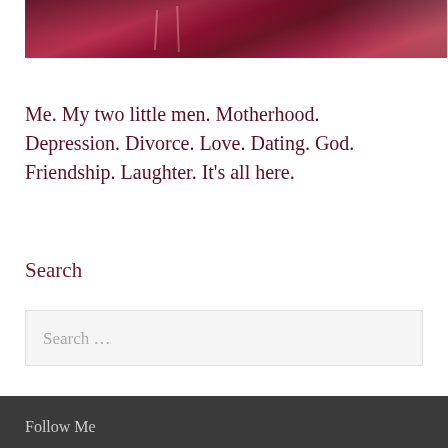[Figure (photo): Partial photo of a person wearing a dark red/maroon floral dress with jewelry visible, against a stone wall background. Only the upper torso area is visible.]
Me. My two little men. Motherhood. Depression. Divorce. Love. Dating. God. Friendship. Laughter. It's all here.
Search
Search …
Follow Me